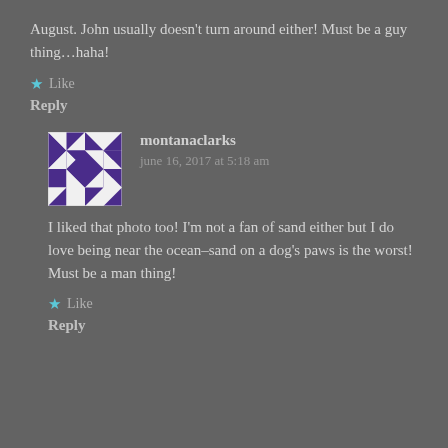August. John usually doesn't turn around either! Must be a guy thing…haha!
★ Like
Reply
montanaclarks
june 16, 2017 at 5:18 am
I liked that photo too! I'm not a fan of sand either but I do love being near the ocean–sand on a dog's paws is the worst! Must be a man thing!
★ Like
Reply